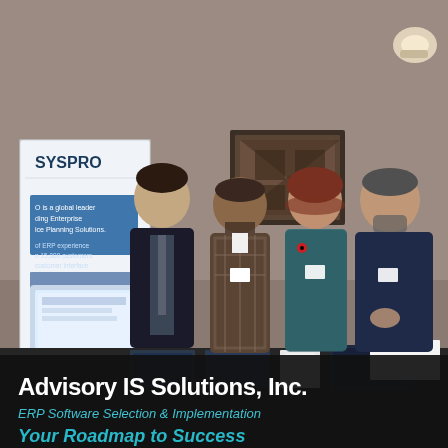[Figure (photo): Four people standing behind a trade show booth table with a black tablecloth. The table displays brochures and a monitor. The tablecloth reads 'Advisory IS Solutions, Inc.' in large white text, 'ERP Software Selection & Implementation' in cyan/teal italic text, and 'Your Roadmap to Success' in large cyan italic text. A SYSPRO banner is visible on the left side in the background. The four individuals (three men and one woman) are wearing name badges.]